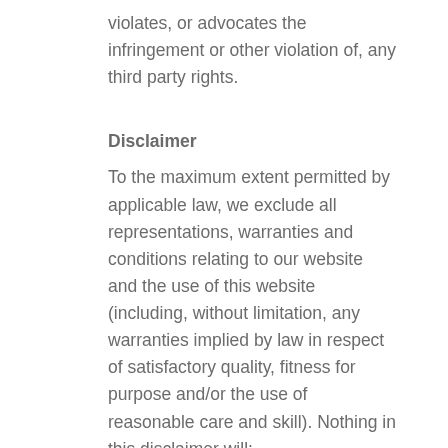violates, or advocates the infringement or other violation of, any third party rights.
Disclaimer
To the maximum extent permitted by applicable law, we exclude all representations, warranties and conditions relating to our website and the use of this website (including, without limitation, any warranties implied by law in respect of satisfactory quality, fitness for purpose and/or the use of reasonable care and skill). Nothing in this disclaimer will:
limit or exclude our or your liability for death or personal injury resulting from negligence;
limit or exclude our or your liability for fraud or